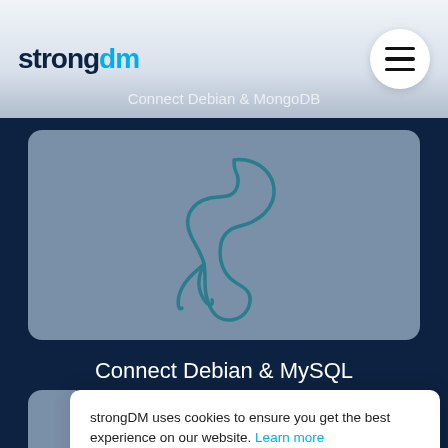[Figure (logo): strongDM logo with 'strong' in dark navy and 'dm' in cyan blue]
[Figure (illustration): Hamburger menu icon in white circle]
Connect Debian & MongoDB
[Figure (illustration): MySQL dolphin logo outline in teal on grey-blue rounded rectangle card]
Connect Debian & MySQL
strongDM uses cookies to ensure you get the best experience on our website. Learn more
Got it!